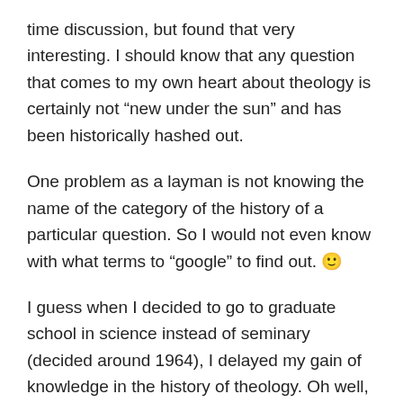time discussion, but found that very interesting. I should know that any question that comes to my own heart about theology is certainly not “new under the sun” and has been historically hashed out.
One problem as a layman is not knowing the name of the category of the history of a particular question. So I would not even know with what terms to “google” to find out. 🙂
I guess when I decided to go to graduate school in science instead of seminary (decided around 1964), I delayed my gain of knowledge in the history of theology. Oh well, in a few years I can talk with the original authors of those debates. Won’t that be wonderful? Or “then shall I know